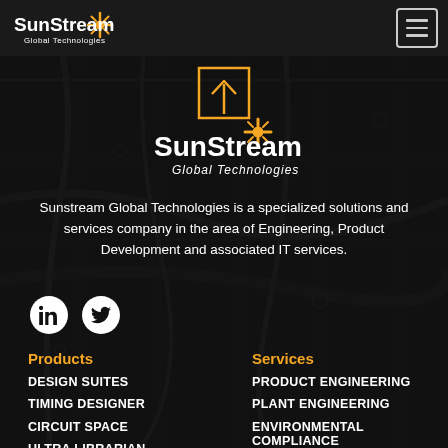[Figure (logo): SunStream Global Technologies logo in navbar — orange starburst icon with white text 'SunStream' and subtitle 'Global Technologies']
[Figure (logo): SunStream Global Technologies centered logo — upload icon arrow above, orange starburst, white bold 'SunStream' with orange star, italic 'Global Technologies']
Sunstream Global Technologies is a specialized solutions and services company in the area of Engineering, Product Development and associated IT services.
[Figure (other): LinkedIn and Twitter social media icons (white circles with black glyphs)]
Products
Services
DESIGN SUITES
PRODUCT ENGINEERING
TIMING DESIGNER
PLANT ENGINEERING
CIRCUIT SPACE
ENVIRONMENTAL COMPLIANCE
ULTRA LIBRARIAN